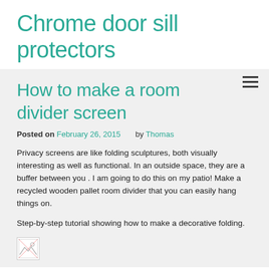Chrome door sill protectors
How to make a room divider screen
Posted on February 26, 2015   by Thomas
Privacy screens are like folding sculptures, both visually interesting as well as functional. In an outside space, they are a buffer between you . I am going to do this on my patio! Make a recycled wooden pallet room divider that you can easily hang things on.
Step-by-step tutorial showing how to make a decorative folding.
[Figure (photo): Broken/missing image placeholder]